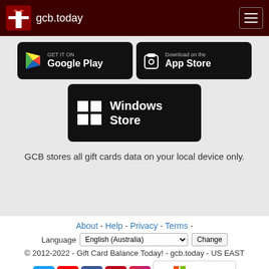gcb.today
[Figure (screenshot): Google Play and App Store buttons, Windows Store button on gray background]
GCB stores all gift cards data on your local device only.
About - Help - Privacy - Terms -
Language English (Australia) Change
© 2012-2022 - Gift Card Balance Today! - gcb.today - US EAST
[Figure (logo): Social media icons: Twitter, YouTube, Facebook, Pinterest, Instagram and Gold Microsoft Partner badge]
All product names, logos, trademarks, and brands are property of their respective owners.
All company, product and service names used in this website are for